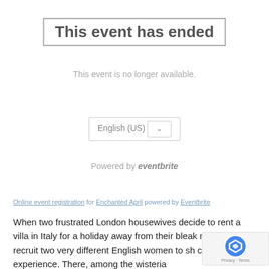This event has ended
This event is no longer available.
English (US) ▾
Powered by eventbrite
Online event registration for Enchanted April powered by Eventbrite
When two frustrated London housewives decide to rent a villa in Italy for a holiday away from their bleak mar... they recruit two very different English women to sh... cost and the experience. There, among the wisteria...